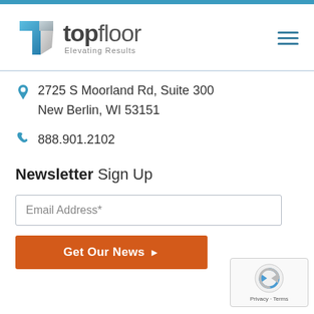[Figure (logo): Topfloor logo with blue T icon and tagline 'Elevating Results']
2725 S Moorland Rd, Suite 300
New Berlin, WI 53151
888.901.2102
Newsletter Sign Up
Email Address*
Get Our News ▶